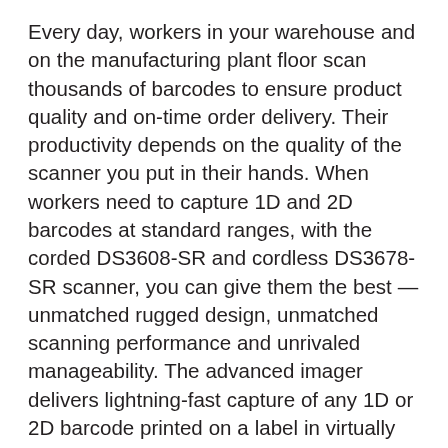Every day, workers in your warehouse and on the manufacturing plant floor scan thousands of barcodes to ensure product quality and on-time order delivery. Their productivity depends on the quality of the scanner you put in their hands. When workers need to capture 1D and 2D barcodes at standard ranges, with the corded DS3608-SR and cordless DS3678-SR scanner, you can give them the best — unmatched rugged design, unmatched scanning performance and unrivaled manageability. The advanced imager delivers lightning-fast capture of any 1D or 2D barcode printed on a label in virtually any condition or displayed on a screen, from near contact to nearly 5 ft./1.5 m away. The ultra-rugged design is practically indestructible — ideal for punishing environments. The DS3608-SR/DS3678-SR couldn't be easier and less time-consuming to deploy and manage. And when it comes to cordless technology, the DS3678-SR is in a class of its own, with a complete solution that includes